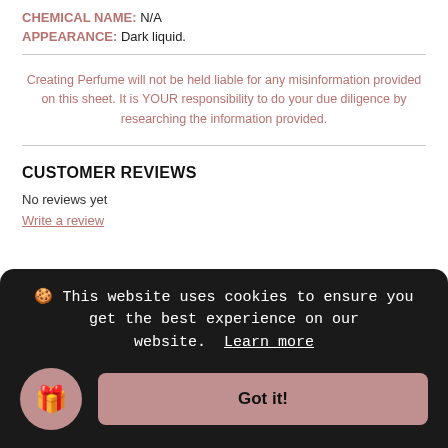CHEMICAL NAME: N/A
APPEARANCE: Dark liquid.
Creating Perfume will not be held liable for any misinformation provided on this sheet. It is YOUR responsibility to do your due diligence by researching the information provided.
CUSTOMER REVIEWS
No reviews yet
Write a review
🍪 This website uses cookies to ensure you get the best experience on our website.  Learn more
Got it!